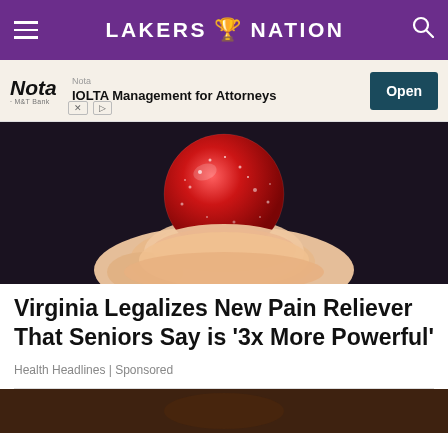LAKERS NATION
[Figure (screenshot): Advertisement banner for Nota - IOLTA Management for Attorneys with an Open button]
[Figure (photo): Close-up photo of a hand holding a red sugary gummy candy against a dark background]
Virginia Legalizes New Pain Reliever That Seniors Say is ‘3x More Powerful’
Health Headlines | Sponsored
[Figure (photo): Partial view of another article image at the bottom of the page]